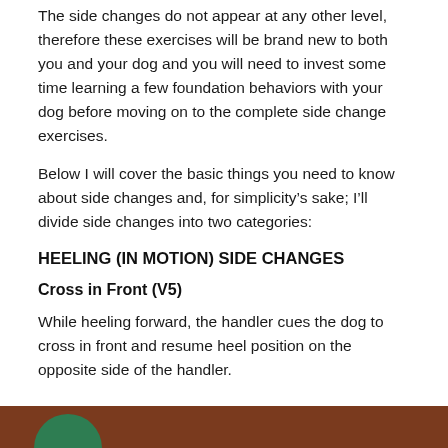The side changes do not appear at any other level, therefore these exercises will be brand new to both you and your dog and you will need to invest some time learning a few foundation behaviors with your dog before moving on to the complete side change exercises.
Below I will cover the basic things you need to know about side changes and, for simplicity’s sake; I’ll divide side changes into two categories:
HEELING (IN MOTION) SIDE CHANGES
Cross in Front (V5)
While heeling forward, the handler cues the dog to cross in front and resume heel position on the opposite side of the handler.
[Figure (photo): Bottom strip showing a partial view of a person and dog, with a green circular element visible on the left, brown/dark reddish background]